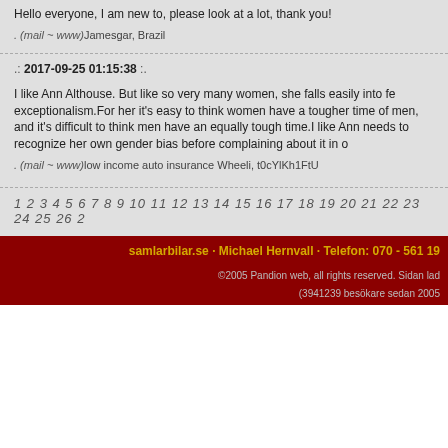Hello everyone, I am new to, please look at a lot, thank you!
. (mail ~ www)Jamesgar, Brazil
.: 2017-09-25 01:15:38 :.
I like Ann Althouse. But like so very many women, she falls easily into female exceptionalism.For her it's easy to think women have a tougher time of it than men, and it's difficult to think men have an equally tough time.I like Ann Althouse needs to recognize her own gender bias before complaining about it in o
. (mail ~ www)low income auto insurance Wheeli, t0cYlKh1FtU
1 2 3 4 5 6 7 8 9 10 11 12 13 14 15 16 17 18 19 20 21 22 23 24 25 26 2
samlarbilar.se · Michael Hernvall · Telefon: 070 - 561 19
©2005 Pandion web, all rights reserved. Sidan lad (3941239 besökare sedan 2005